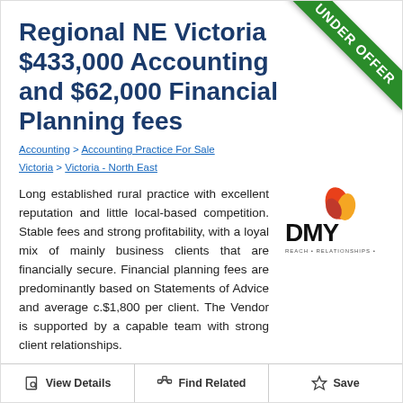Regional NE Victoria $433,000 Accounting and $62,000 Financial Planning fees
Accounting > Accounting Practice For Sale Victoria > Victoria - North East
Long established rural practice with excellent reputation and little local-based competition. Stable fees and strong profitability, with a loyal mix of mainly business clients that are financially secure. Financial planning fees are predominantly based on Statements of Advice and average c.$1,800 per client. The Vendor is supported by a capable team with strong client relationships.
LAST UPDATED: 14 July 2022
REFERENCE: ID#151
[Figure (logo): DMY logo with tagline REACH + RELATIONSHIPS + RESULTS]
[Figure (illustration): Green UNDER OFFER corner ribbon banner]